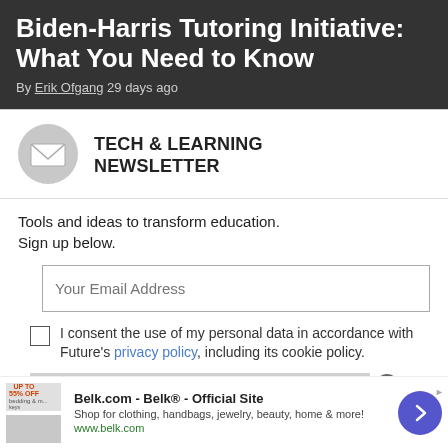Biden-Harris Tutoring Initiative: What You Need to Know
By Erik Ofgang 29 days ago
TECH & LEARNING NEWSLETTER
Tools and ideas to transform education. Sign up below.
Your Email Address
I consent the use of my personal data in accordance with Future's privacy policy, including its cookie policy.
SIGN ME UP
Belk.com - Belk® - Official Site
Shop for clothing, handbags, jewelry, beauty, home & more!
www.belk.com